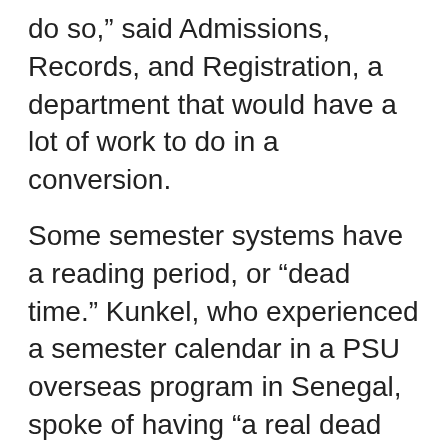do so,” said Admissions, Records, and Registration, a department that would have a lot of work to do in a conversion.
Some semester systems have a reading period, or “dead time.” Kunkel, who experienced a semester calendar in a PSU overseas program in Senegal, spoke of having “a real dead week.” No classes are held, instructors are available for questions and “everyone studies.”
The OUS also lists 21 arguments in favor of quarters. I found very few of these arguments persuasive. Many arguments seemed to be a “stretch” or just plain wrong.
For example, quarters were said to have “more depth and breadth of majors due to a larger